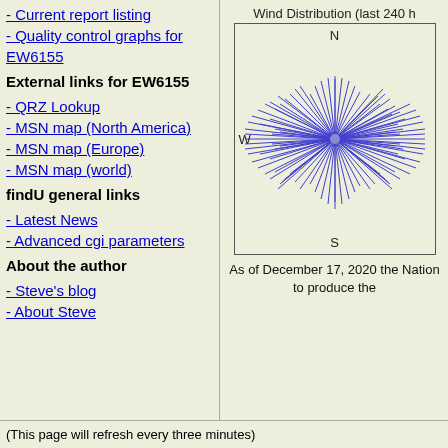- Current report listing
- Quality control graphs for EW6155
External links for EW6155
- QRZ Lookup
- MSN map (North America)
- MSN map (Europe)
- MSN map (world)
findU general links
- Latest News
- Advanced cgi parameters
About the author
- Steve's blog
- About Steve
[Figure (other): Wind Distribution rose diagram (last 240 hours) for station EW6155. Shows blue lines radiating from center in all directions, predominantly pointing East and West, with 'N' at top, 'S' at bottom, 'W' at left.]
As of December 17, 2020 the Nation... to produce the...
(This page will refresh every three minutes)